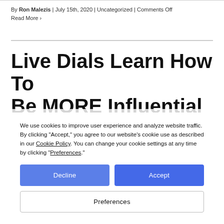By Ron Malezis | July 15th, 2020 | Uncategorized | Comments Off
Read More ›
Live Dials Learn How To Be MORE Influential
We use cookies to improve user experience and analyze website traffic. By clicking "Accept," you agree to our website's cookie use as described in our Cookie Policy. You can change your cookie settings at any time by clicking "Preferences."
Decline
Accept
Preferences